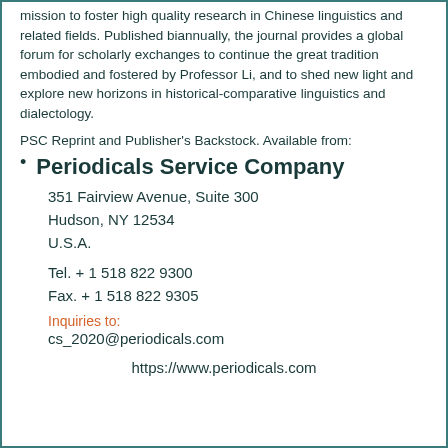mission to foster high quality research in Chinese linguistics and related fields. Published biannually, the journal provides a global forum for scholarly exchanges to continue the great tradition embodied and fostered by Professor Li, and to shed new light and explore new horizons in historical-comparative linguistics and dialectology.
PSC Reprint and Publisher's Backstock. Available from:
Periodicals Service Company
351 Fairview Avenue, Suite 300
Hudson, NY 12534
U.S.A.
Tel. + 1 518 822 9300
Fax. + 1 518 822 9305
Inquiries to:
cs_2020@periodicals.com
https://www.periodicals.com